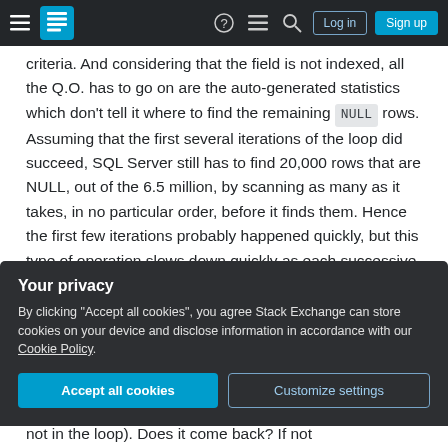Stack Exchange navigation bar with hamburger menu, logo, help, chat, search icons, Log in and Sign up buttons
criteria. And considering that the field is not indexed, all the Q.O. has to go on are the auto-generated statistics which don't tell it where to find the remaining NULL rows. Assuming that the first several iterations of the loop did succeed, SQL Server still has to find 20,000 rows that are NULL, out of the 6.5 million, by scanning as many as it takes, in no particular order, before it finds them. Hence the first few iterations probably happened quickly, but this type of operation slows down quickly as each successive pass needs to scan more and more
Your privacy
By clicking "Accept all cookies", you agree Stack Exchange can store cookies on your device and disclose information in accordance with our Cookie Policy.
Accept all cookies   Customize settings
not in the loop). Does it come back? If not